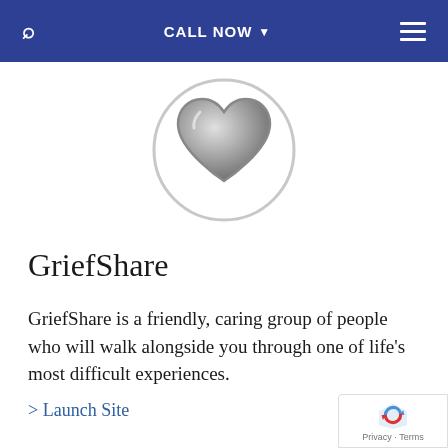CALL NOW
[Figure (illustration): A silver/gray heart emoji icon inside a light gray circle outline]
GriefShare
GriefShare is a friendly, caring group of people who will walk alongside you through one of life's most difficult experiences.
> Launch Site